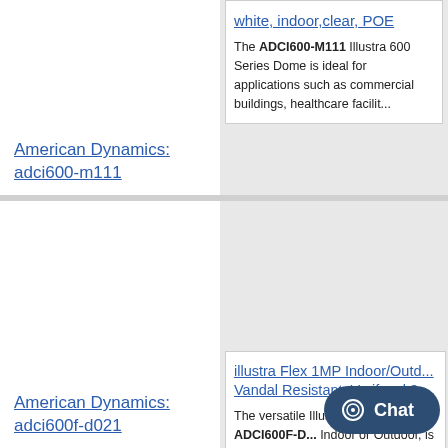[Figure (photo): Security dome camera - American Dynamics adci600-m111, white, top-down view]
white, indoor,clear, POE
The ADCI600-M111 Illustra 600 Series Dome is ideal for applications such as commercial buildings, healthcare facilit...
American Dynamics: adci600-m111
[Figure (photo): Security dome camera - American Dynamics adci600f-d021, white, front view]
illustra Flex 1MP Indoor/Outd... Vandal Resistant, Varifocal 3-...
The versatile Illustra Flex ADCI600F-D... Indoor or Outdoor, is a True Day/Night that provides 1MP and 3MP full HD res... quality images....
American Dynamics: adci600f-d021